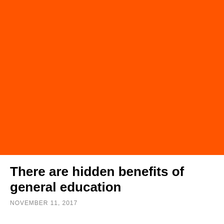[Figure (illustration): Large solid orange/red-orange rectangle filling the upper portion of the page]
There are hidden benefits of general education
NOVEMBER 11, 2017